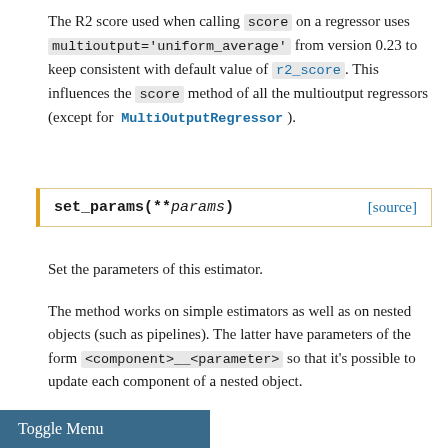The R2 score used when calling score on a regressor uses multioutput='uniform_average' from version 0.23 to keep consistent with default value of r2_score. This influences the score method of all the multioutput regressors (except for MultiOutputRegressor).
set_params(**params) [source]
Set the parameters of this estimator.
The method works on simple estimators as well as on nested objects (such as pipelines). The latter have parameters of the form <component>__<parameter> so that it's possible to update each component of a nested object.
Parameters:
params : dict